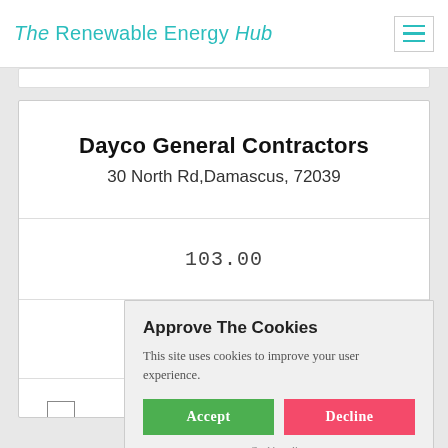The Renewable Energy Hub
Dayco General Contractors
30 North Rd,Damascus, 72039
103.00
[Figure (other): Five empty star rating icons]
[Figure (other): Checkbox unchecked]
Get a Q...
Approve The Cookies
This site uses cookies to improve your user experience.
Accept  Decline
Cookie policy